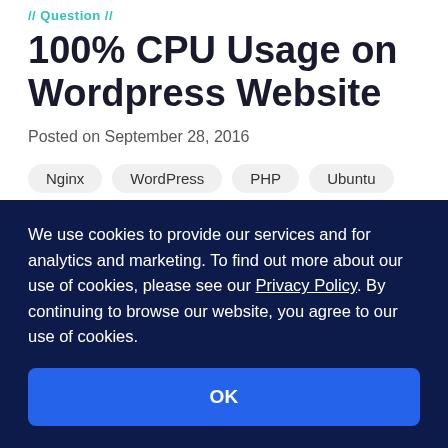// Question //
100% CPU Usage on Wordpress Website
Posted on September 28, 2016
Nginx
WordPress
PHP
Ubuntu
Asked by Irakli Chalagashvili
We use cookies to provide our services and for analytics and marketing. To find out more about our use of cookies, please see our Privacy Policy. By continuing to browse our website, you agree to our use of cookies.
OK